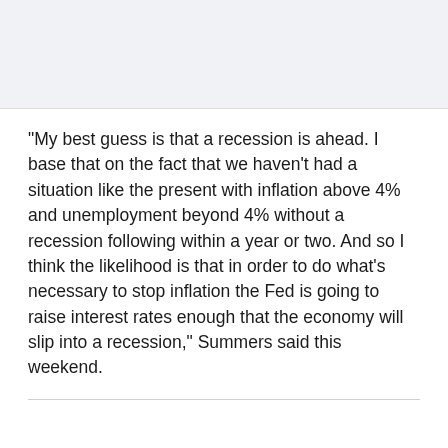"My best guess is that a recession is ahead. I base that on the fact that we haven't had a situation like the present with inflation above 4% and unemployment beyond 4% without a recession following within a year or two. And so I think the likelihood is that in order to do what's necessary to stop inflation the Fed is going to raise interest rates enough that the economy will slip into a recession," Summers said this weekend.